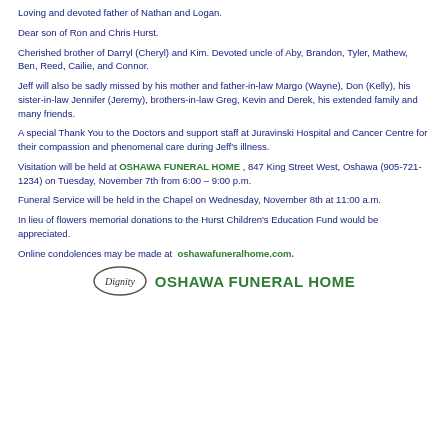Loving and devoted father of Nathan and Logan.
Dear son of Ron and Chris Hurst.
Cherished brother of Darryl (Cheryl) and Kim. Devoted uncle of Aby, Brandon, Tyler, Mathew, Ben, Reed, Cailie, and Connor.
Jeff will also be sadly missed by his mother and father-in-law Margo (Wayne), Don (Kelly), his sister-in-law Jennifer (Jeremy), brothers-in-law Greg, Kevin and Derek, his extended family and many friends.
A special Thank You to the Doctors and support staff at Juravinski Hospital and Cancer Centre for their compassion and phenomenal care during Jeff's illness.
Visitation will be held at OSHAWA FUNERAL HOME , 847 King Street West, Oshawa (905-721-1234) on Tuesday, November 7th from 6:00 – 9:00 p.m.
Funeral Service will be held in the Chapel on Wednesday, November 8th at 11:00 a.m.
In lieu of flowers memorial donations to the Hurst Children's Education Fund would be appreciated.
Online condolences may be made at oshawafuneralhome.com.
[Figure (logo): Dignity logo oval and OSHAWA FUNERAL HOME text in dark blue]